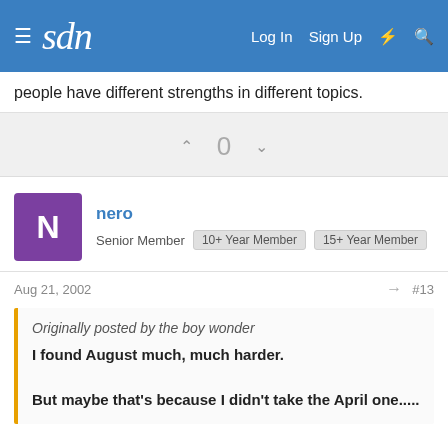sdn | Log In  Sign Up
people have different strengths in different topics.
0
nero
Senior Member  10+ Year Member  15+ Year Member
Aug 21, 2002  #13
Originally posted by the boy wonder
I found August much, much harder.

But maybe that's because I didn't take the April one.....
HAHA, THIS MADE ME AND MY FRIEND LAUGH FOR A WHILE....HAHA